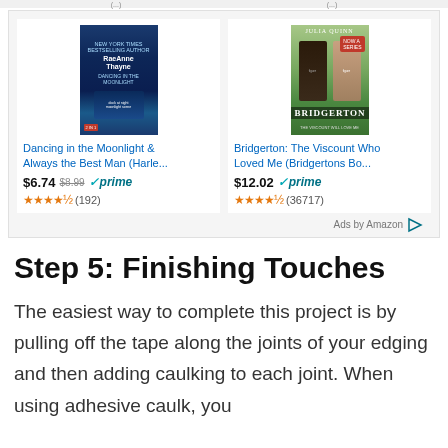[Figure (other): Amazon advertisement banner showing two book listings: 'Dancing in the Moonlight & Always the Best Man (Harle...' at $6.74 (was $8.99) with prime badge and 4.5 stars (192 reviews), and 'Bridgerton: The Viscount Who Loved Me (Bridgertons Bo...)' at $12.02 with prime badge and 4.5 stars (36717 reviews). Ads by Amazon label at bottom right.]
Step 5: Finishing Touches
The easiest way to complete this project is by pulling off the tape along the joints of your edging and then adding caulking to each joint. When using adhesive caulk, you